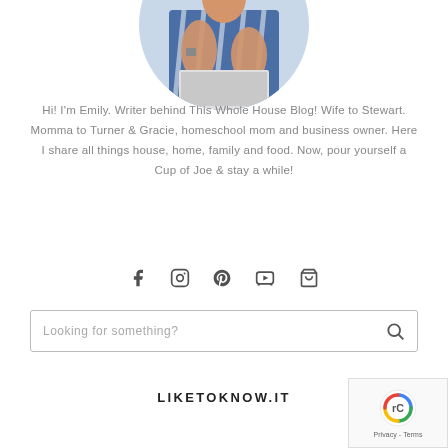[Figure (photo): Circular cropped photo of a woman (Emily) working at a laptop, wearing a striped top, only partial torso/arms visible]
Hi! I'm Emily. Writer behind This Whole House Blog! Wife to Stewart. Momma to Turner & Gracie, homeschool mom and business owner. Here I share all things house, home, family and food. Now, pour yourself a Cup of Joe & stay a while!
[Figure (infographic): Row of social media icons: Facebook, Instagram, Pinterest, YouTube, Shopping cart]
[Figure (other): Search bar with placeholder text 'Looking for something?' and a magnifying glass icon]
LIKETOKNOW.IT
[Figure (other): reCAPTCHA badge in bottom right corner showing the reCAPTCHA logo and Privacy - Terms text]